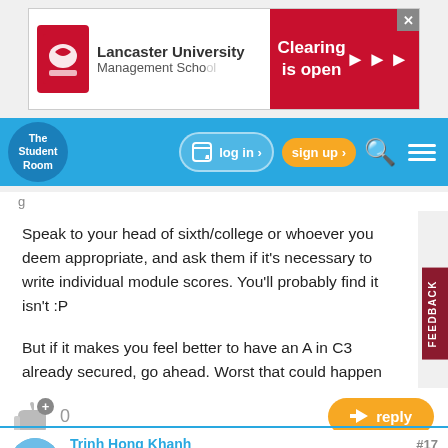[Figure (screenshot): Lancaster University Management School advertisement banner with red logo and 'Clearing is open' call-to-action on right side in red]
[Figure (screenshot): The Student Room website navigation bar in blue with logo, log in, sign up, search and menu buttons]
Speak to your head of sixth/college or whoever you deem appropriate, and ask them if it's necessary to write individual module scores. You'll probably find it isn't :P

But if it makes you feel better to have an A in C3 already secured, go ahead. Worst that could happen is it goes down and you retake anyway. I personally would, but that's because I'm a mark-scrounger :P
[Figure (screenshot): Like button with count 0 and orange reply button]
Trinh Hong Khanh #17 Badges: 2 Rep: